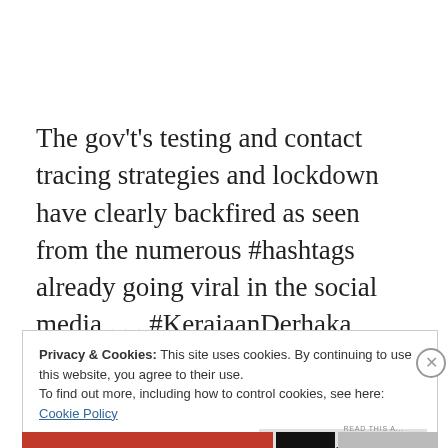The gov't's testing and contact tracing strategies and lockdown have clearly backfired as seen from the numerous #hashtags already going viral in the social media . . . #KerajaanDerhaka, #KerajaanGagal, #KibarkanBenderaHitam,
Privacy & Cookies: This site uses cookies. By continuing to use this website, you agree to their use.
To find out more, including how to control cookies, see here:
Cookie Policy
Close and accept